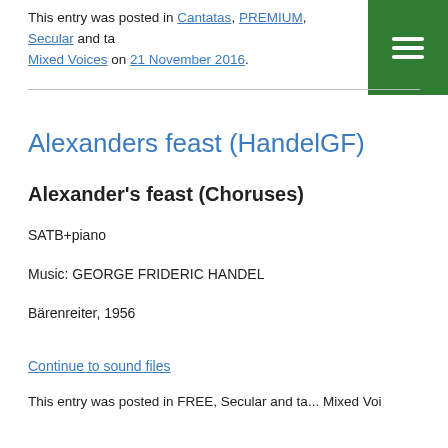This entry was posted in Cantatas, PREMIUM, Secular and ta... Mixed Voices on 21 November 2016.
Alexanders feast (HandelGF)
Alexander's feast (Choruses)
SATB+piano
Music: GEORGE FRIDERIC HANDEL
Bärenreiter, 1956
Continue to sound files
This entry was posted in FREE, Secular and ta... Mixed Voices